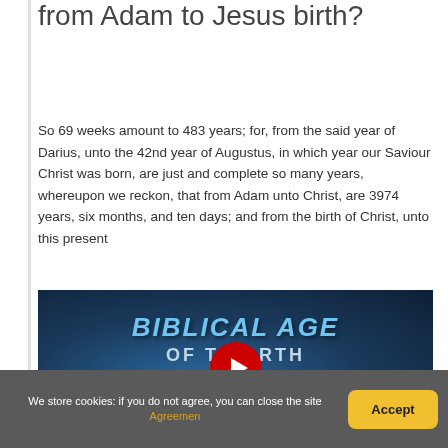from Adam to Jesus birth?
So 69 weeks amount to 483 years; for, from the said year of Darius, unto the 42nd year of Augustus, in which year our Saviour Christ was born, are just and complete so many years, whereupon we reckon, that from Adam unto Christ, are 3974 years, six months, and ten days; and from the birth of Christ, unto this present
[Figure (screenshot): YouTube video thumbnail showing 'BIBLICAL AGE OF THE EARTH' by DR. ROBERT CARTER with a play button overlay, blue radial gradient background]
We store cookies: if you do not agree, you can close the site Agreement